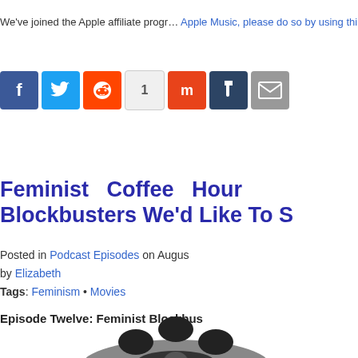We've joined the Apple affiliate program. Apple Music, please do so by using thi
[Figure (screenshot): Social sharing buttons: Facebook (blue), Twitter (light blue), Reddit (orange), share count showing 1, Mix (orange-red), Tumblr (dark blue), Email (gray)]
Feminist Coffee Hour Blockbusters We'd Like To S
Posted in Podcast Episodes on Augus by Elizabeth
Tags: Feminism • Movies
Episode Twelve: Feminist Blockbus
[Figure (photo): A 3D rendered film reel (movie reel) in dark gray/silver tones, showing the circular reel with holes, viewed from a slight angle]